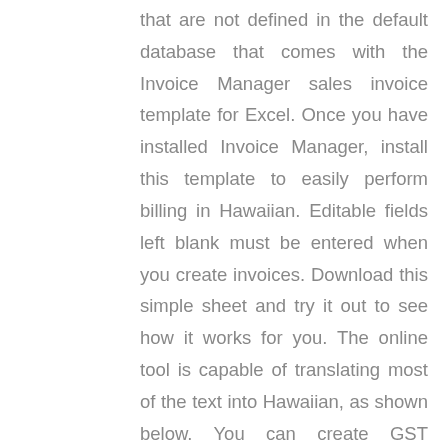that are not defined in the default database that comes with the Invoice Manager sales invoice template for Excel. Once you have installed Invoice Manager, install this template to easily perform billing in Hawaiian. Editable fields left blank must be entered when you create invoices. Download this simple sheet and try it out to see how it works for you. The online tool is capable of translating most of the text into Hawaiian, as shown below. You can create GST compliant invoices for FREE with ClearTax BillBook software Do you want to know: We are 8 members of the Coop company who have received a TIG property in Action Area 3 of the new city of West Bengal.